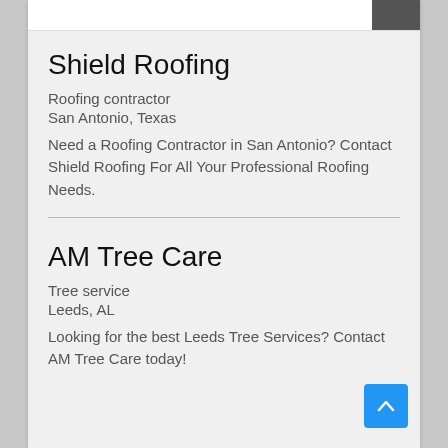Shield Roofing
Roofing contractor
San Antonio, Texas
Need a Roofing Contractor in San Antonio? Contact Shield Roofing For All Your Professional Roofing Needs.
AM Tree Care
Tree service
Leeds, AL
Looking for the best Leeds Tree Services? Contact AM Tree Care today!